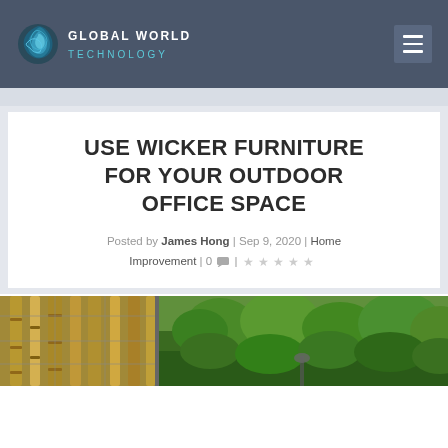GLOBAL WORLD TECHNOLOGY
USE WICKER FURNITURE FOR YOUR OUTDOOR OFFICE SPACE
Posted by James Hong | Sep 9, 2020 | Home Improvement | 0 💬 | ★★★★★
[Figure (photo): Outdoor scene with bamboo and greenery, split into two sections showing natural outdoor environment]